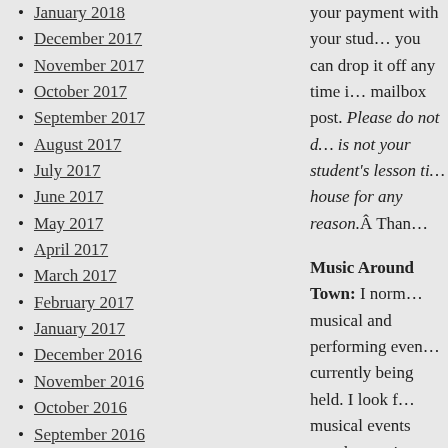January 2018
December 2017
November 2017
October 2017
September 2017
August 2017
July 2017
June 2017
May 2017
April 2017
March 2017
February 2017
January 2017
December 2016
November 2016
October 2016
September 2016
August 2016
July 2016
June 2016
May 2016
April 2016
March 2016
February 2016
January 2016
December 2015
November 2015
your payment with your stud... you can drop it off any time i... mailbox post. Please do not d... is not your student's lesson ti... house for any reason.Â Than...
Music Around Town: I norm... musical and performing even... currently being held. I look f... musical events together again...
In parting, I again want to tha... support and understanding as... is a special gift to all of us, a... music an important part of yo...